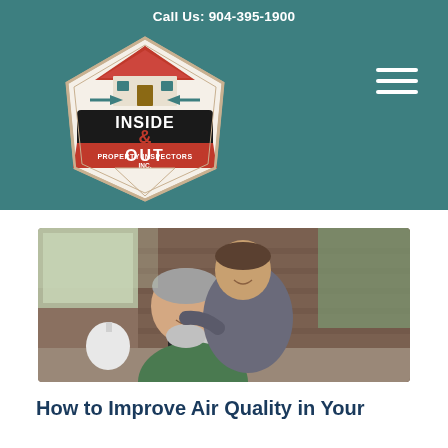Call Us: 904-395-1900
[Figure (logo): Inside & Out Property Inspectors Inc. logo — shield-shaped badge with house rooftop graphic, teal and red color scheme, black center panel with 'OUT', red ampersand, white banner reading 'PROPERTY INSPECTORS INC.']
[Figure (photo): Happy older couple in a cozy kitchen interior — man with grey beard smiling, woman leaning over him embracing, brick wall and window in background]
How to Improve Air Quality in Your